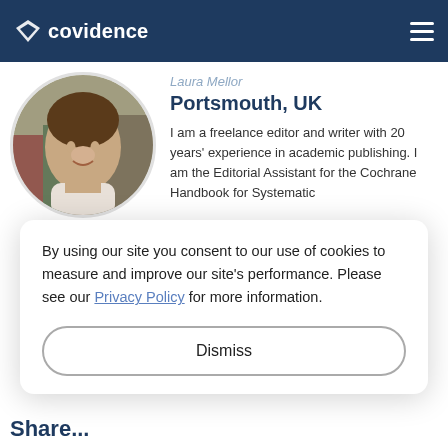covidence
[Figure (photo): Circular profile photo of a woman smiling, with bookshelves in the background]
Laura Mellor
Portsmouth, UK
I am a freelance editor and writer with 20 years' experience in academic publishing. I am the Editorial Assistant for the Cochrane Handbook for Systematic
By using our site you consent to our use of cookies to measure and improve our site's performance. Please see our Privacy Policy for more information.
Dismiss
Share...